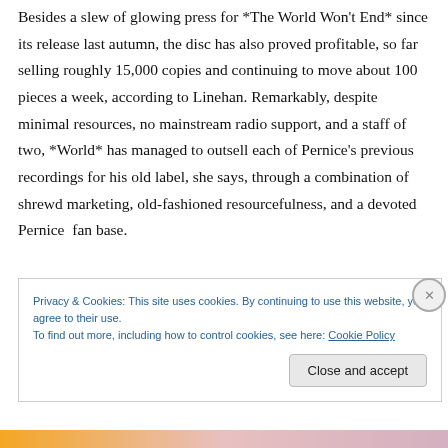Besides a slew of glowing press for *The World Won't End* since its release last autumn, the disc has also proved profitable, so far selling roughly 15,000 copies and continuing to move about 100 pieces a week, according to Linehan. Remarkably, despite minimal resources, no mainstream radio support, and a staff of two, *World* has managed to outsell each of Pernice's previous recordings for his old label, she says, through a combination of shrewd marketing, old-fashioned resourcefulness, and a devoted Pernice  fan base.
Privacy & Cookies: This site uses cookies. By continuing to use this website, you agree to their use.
To find out more, including how to control cookies, see here: Cookie Policy